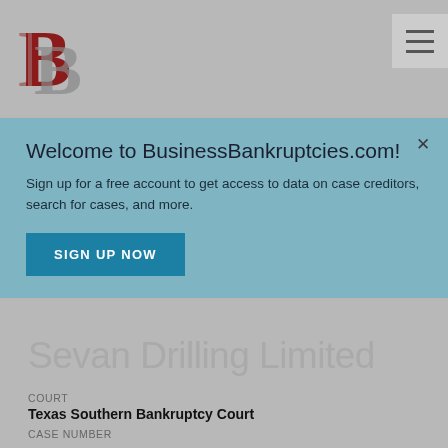BusinessBankruptcies.com logo and navigation
Welcome to BusinessBankruptcies.com! Sign up for a free account to get access to data on case creditors, search for cases, and more.
SIGN UP NOW
Sevan Drilling Limited
COURT
Texas Southern Bankruptcy Court
CASE NUMBER
4:2021bk30495
TYPE (